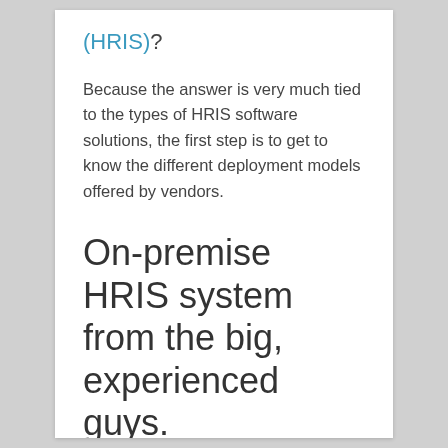(HRIS)?
Because the answer is very much tied to the types of HRIS software solutions, the first step is to get to know the different deployment models offered by vendors.
On-premise HRIS system from the big, experienced guys.
Overview: